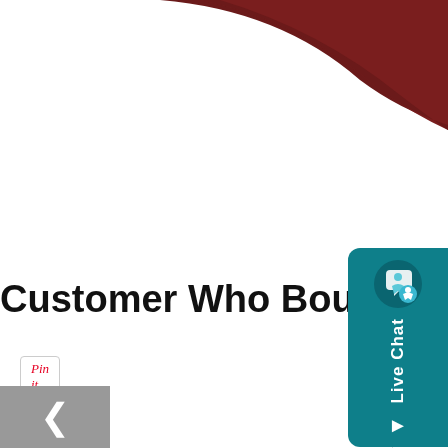[Figure (photo): Dark red curved cap brim shape visible at top of page, partially cropped]
[Figure (other): Pin it button with red italic text on white background with border]
Customer Who Bought Thi...
[Figure (photo): Mermaid-scale patterned leggings/tights in colorful scale pattern with teal/green feet, shown from legs up]
[Figure (other): Partial security badge (S| SEC... SE...) in green rounded rectangle]
[Figure (other): Live Chat widget on right side - teal background with chat icon, accessibility icon, and 'Live Chat' text]